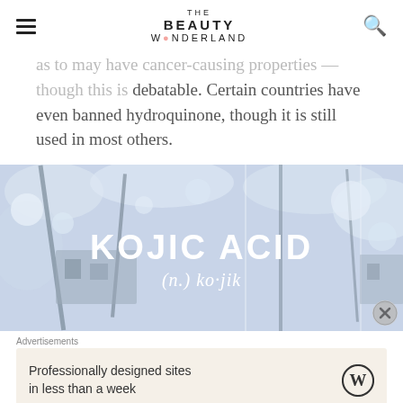THE BEAUTY W·ONDERLAND
as to may have cancer-causing properties — though this is debatable. Certain countries have even banned hydroquinone, though it is still used in most others.
[Figure (photo): Banner image with snow-covered cherry blossom trees and buildings, overlaid with white bold text reading 'KOJIC ACID' and italic text '(n.) ko·jik']
Advertisements
Professionally designed sites in less than a week